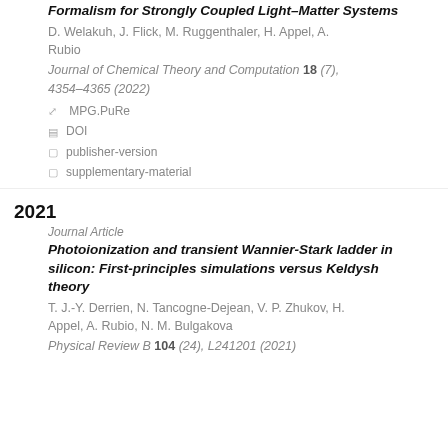Formalism for Strongly Coupled Light–Matter Systems
D. Welakuh, J. Flick, M. Ruggenthaler, H. Appel, A. Rubio
Journal of Chemical Theory and Computation 18 (7), 4354–4365 (2022)
MPG.PuRe
DOI
publisher-version
supplementary-material
2021
Journal Article
Photoionization and transient Wannier-Stark ladder in silicon: First-principles simulations versus Keldysh theory
T. J.-Y. Derrien, N. Tancogne-Dejean, V. P. Zhukov, H. Appel, A. Rubio, N. M. Bulgakova
Physical Review B 104 (24), L241201 (2021)